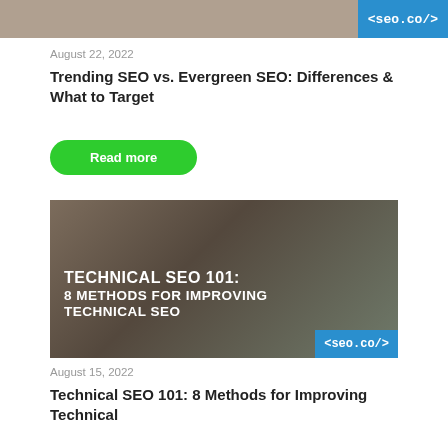[Figure (photo): Partial top image strip with seo.co/ logo badge in blue at right]
August 22, 2022
Trending SEO vs. Evergreen SEO: Differences & What to Target
Read more
[Figure (photo): Person typing on laptop keyboard with coffee cup, dark overlay with text: TECHNICAL SEO 101: 8 METHODS FOR IMPROVING TECHNICAL SEO, and seo.co/ badge]
August 15, 2022
Technical SEO 101: 8 Methods for Improving Technical